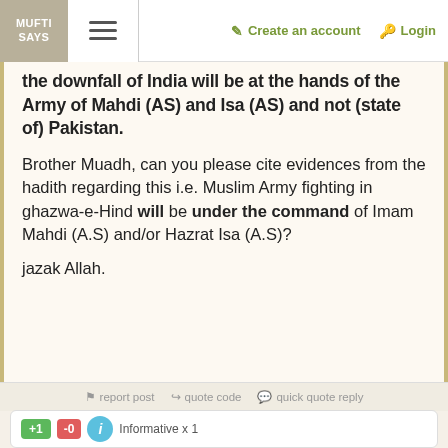MUFTI SAYS | Create an account | Login
the downfall of India will be at the hands of the Army of Mahdi (AS) and Isa (AS) and not (state of) Pakistan.
Brother Muadh, can you please cite evidences from the hadith regarding this i.e. Muslim Army fighting in ghazwa-e-Hind will be under the command of Imam Mahdi (A.S) and/or Hazrat Isa (A.S)?
jazak Allah.
report post   quote code   quick quote reply
+1  -0  Informative x 1